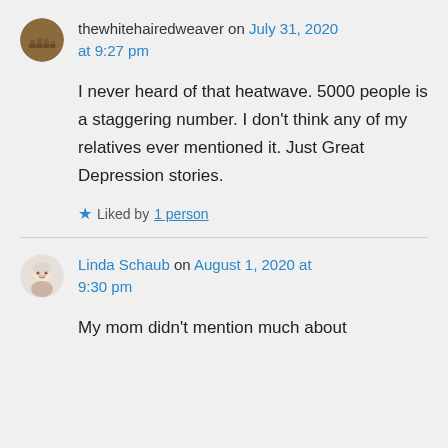thewhitehairedweaver on July 31, 2020 at 9:27 pm
I never heard of that heatwave. 5000 people is a staggering number. I don't think any of my relatives ever mentioned it. Just Great Depression stories.
Liked by 1 person
Linda Schaub on August 1, 2020 at 9:30 pm
My mom didn't mention much about